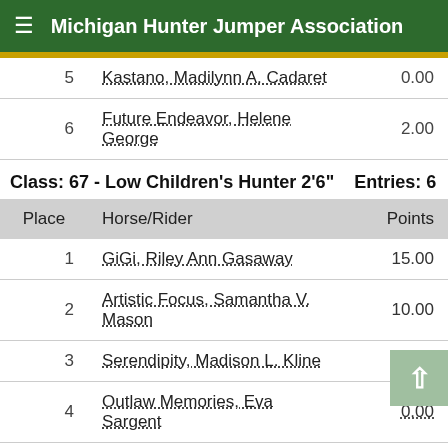Michigan Hunter Jumper Association
| 5 | Kastano, Madilynn A. Cadaret | 0.00 |
| 6 | Future Endeavor, Helene George | 2.00 |
Class: 67 - Low Children's Hunter 2'6"    Entries: 6
| Place | Horse/Rider | Points |
| --- | --- | --- |
| 1 | GiGi, Riley Ann Gasaway | 15.00 |
| 2 | Artistic Focus, Samantha V. Mason | 10.00 |
| 3 | Serendipity, Madison L. Kline | 5.00 |
| 4 | Outlaw Memories, Eva Sargent | 0.00 |
| 5 | Future Endeavor, Helene George | 3.00 |
| 6 | Kastano, Madilynn A. Cadaret | 2.00 |
Class: 68 - Low Children's Hunter U/S    Entries: 5